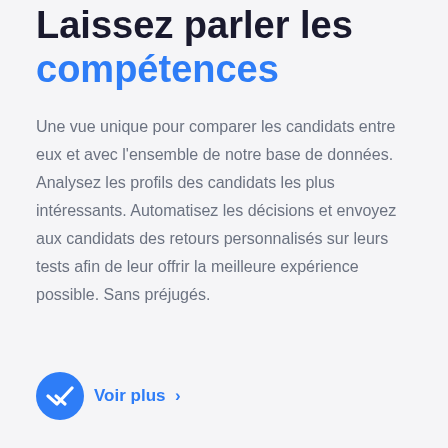Laissez parler les compétences
Une vue unique pour comparer les candidats entre eux et avec l'ensemble de notre base de données. Analysez les profils des candidats les plus intéressants. Automatisez les décisions et envoyez aux candidats des retours personnalisés sur leurs tests afin de leur offrir la meilleure expérience possible. Sans préjugés.
Voir plus ›